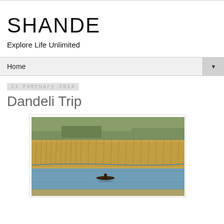SHANDE
Explore Life Unlimited
Home
21 February 2014
Dandeli Trip
[Figure (photo): River scene with a small boat on blue water, golden dry grass/reeds on the bank, and trees in the background. A lone person in a small wooden boat is visible on the calm river.]